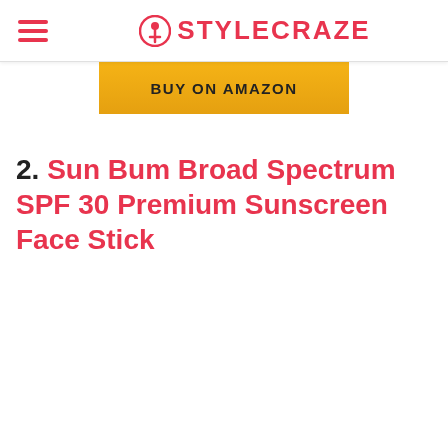STYLECRAZE
[Figure (other): BUY ON AMAZON orange button]
2. Sun Bum Broad Spectrum SPF 30 Premium Sunscreen Face Stick